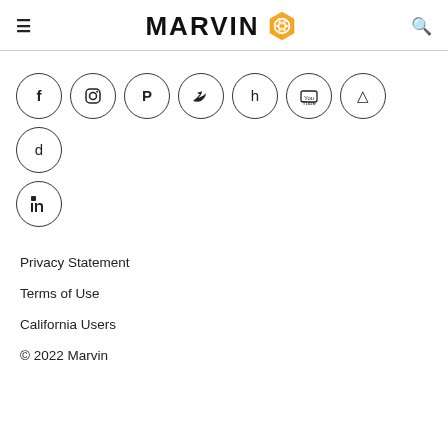≡  MARVIN  🔍
[Figure (logo): Marvin brand logo with hexagonal rose icon in gold/yellow and bold black MARVIN text]
[Figure (infographic): Row of 9 social media icons in circles: Facebook, Instagram, Pinterest, Twitter, Houzz, YouTube, Houzz/Architizer, Dwell, LinkedIn]
Privacy Statement
Terms of Use
California Users
© 2022 Marvin